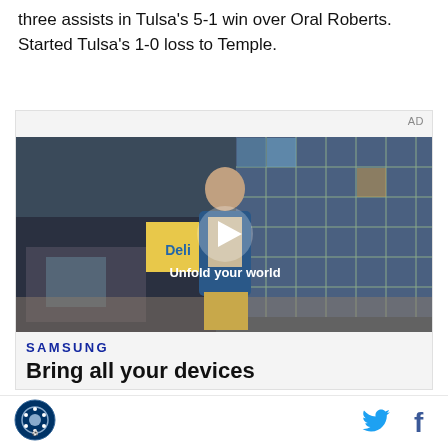three assists in Tulsa's 5-1 win over Oral Roberts. Started Tulsa's 1-0 loss to Temple.
[Figure (screenshot): Advertisement video player showing a young man walking in a cafeteria setting with text 'Unfold your world' and a play button overlay. Below the video: Samsung logo and tagline 'Bring all your devices']
Site logo, Twitter icon, Facebook icon